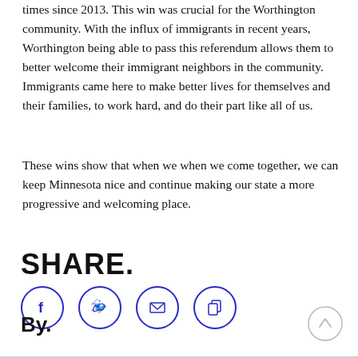times since 2013. This win was crucial for the Worthington community. With the influx of immigrants in recent years, Worthington being able to pass this referendum allows them to better welcome their immigrant neighbors in the community. Immigrants came here to make better lives for themselves and their families, to work hard, and do their part like all of us.
These wins show that when we when we come together, we can keep Minnesota nice and continue making our state a more progressive and welcoming place.
SHARE.
[Figure (other): Social share icons: Facebook, Twitter, Email, Copy link — each in a blue circle outline]
By.